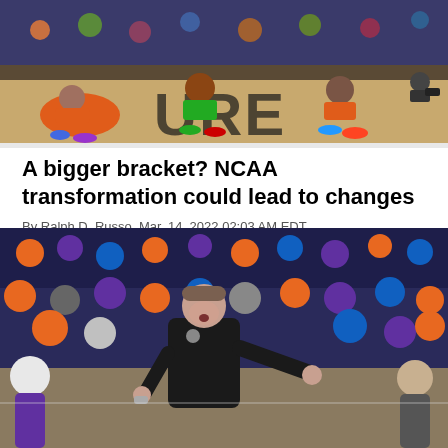[Figure (photo): Basketball players sitting on the court floor, wearing orange and green uniforms, with large letters visible on the floor behind them.]
A bigger bracket? NCAA transformation could lead to changes
By Ralph D. Russo Mar. 14, 2022 02:03 AM EDT
[Figure (photo): A basketball coach in a black jacket pointing and directing players on the sideline during a game, with a crowd in the background wearing orange and purple.]